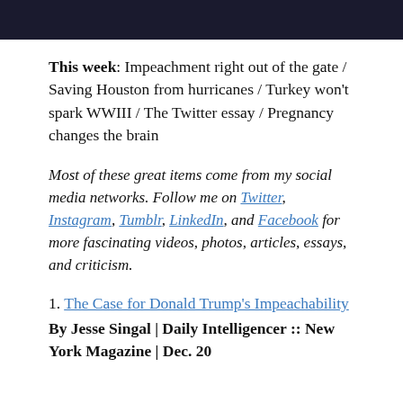[Figure (photo): Dark image bar at top of page]
This week: Impeachment right out of the gate / Saving Houston from hurricanes / Turkey won't spark WWIII / The Twitter essay / Pregnancy changes the brain
Most of these great items come from my social media networks. Follow me on Twitter, Instagram, Tumblr, LinkedIn, and Facebook for more fascinating videos, photos, articles, essays, and criticism.
1. The Case for Donald Trump's Impeachability
By Jesse Singal | Daily Intelligencer :: New York Magazine | Dec. 20